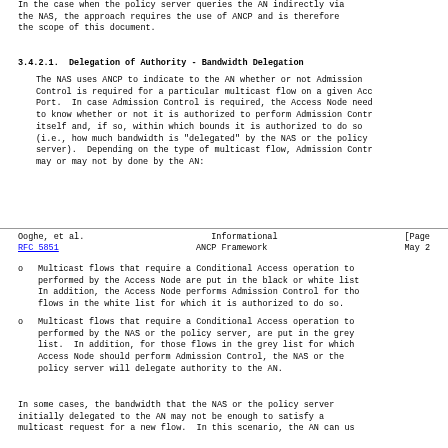In the case when the policy server queries the AN indirectly via the NAS, the approach requires the use of ANCP and is therefore outside the scope of this document.
3.4.2.1.  Delegation of Authority - Bandwidth Delegation
The NAS uses ANCP to indicate to the AN whether or not Admission Control is required for a particular multicast flow on a given Access Port.  In case Admission Control is required, the Access Node needs to know whether or not it is authorized to perform Admission Control itself and, if so, within which bounds it is authorized to do so (i.e., how much bandwidth is "delegated" by the NAS or the policy server).  Depending on the type of multicast flow, Admission Control may or may not by done by the AN:
Ooghe, et al.                  Informational                    [Page
RFC 5851                    ANCP Framework                    May 2
Multicast flows that require a Conditional Access operation to be performed by the Access Node are put in the black or white list. In addition, the Access Node performs Admission Control for those flows in the white list for which it is authorized to do so.
Multicast flows that require a Conditional Access operation to be performed by the NAS or the policy server, are put in the grey list.  In addition, for those flows in the grey list for which the Access Node should perform Admission Control, the NAS or the policy server will delegate authority to the AN.
In some cases, the bandwidth that the NAS or the policy server initially delegated to the AN may not be enough to satisfy a multicast request for a new flow.  In this scenario, the AN can us